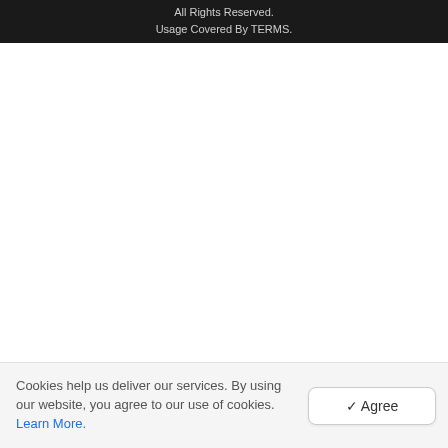All Rights Reserved.
Usage Covered By TERMS.
Cookies help us deliver our services. By using our website, you agree to our use of cookies. Learn More.
✓ Agree